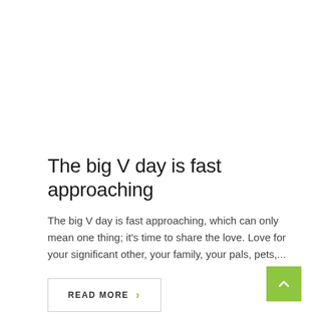The big V day is fast approaching
The big V day is fast approaching, which can only mean one thing; it's time to share the love. Love for your significant other, your family, your pals, pets,...
READ MORE >